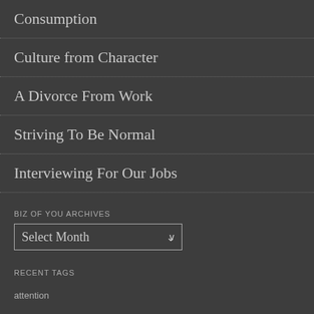Consumption
Culture from Character
A Divorce From Work
Striving To Be Normal
Interviewing For Our Jobs
BIZ OF YOU ARCHIVES
Select Month
RECENT TAGS
attention
awareness
decisions